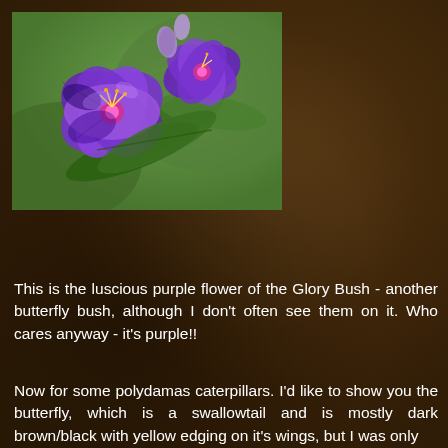[Figure (photo): Close-up photograph of purple Glory Bush flowers with green leaves against a blurred green background]
This is the luscious purple flower of the Glory Bush - another butterfly bush, although I don't often see them on it. Who cares anyway - it's purple!!
Now for some polydamas caterpillars. I'd like to show you the butterfly, which is a swallowtail and is mostly dark brown/black with yellow edging on it's wings, but I was only